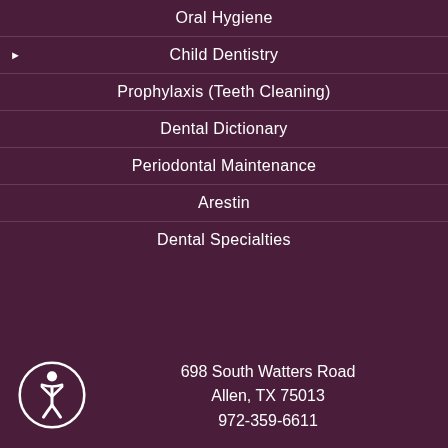Oral Hygiene
Child Dentistry
Prophylaxis (Teeth Cleaning)
Dental Dictionary
Periodontal Maintenance
Arestin
Dental Specialties
698 South Watters Road
Allen, TX 75013
972-359-6611